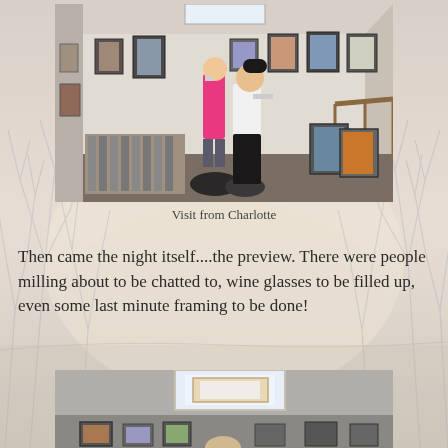[Figure (photo): Interior of an art gallery with two women, one in pink and one in black, surrounded by framed artworks on walls and floor, with print racks and a skylight visible.]
Visit from Charlotte
Then came the night itself....the preview. There were people milling about to be chatted to, wine glasses to be filled up, even some last minute framing to be done!
[Figure (photo): Interior gallery room with a skylight in the ceiling and framed artworks visible on the lower walls, with people partially visible.]